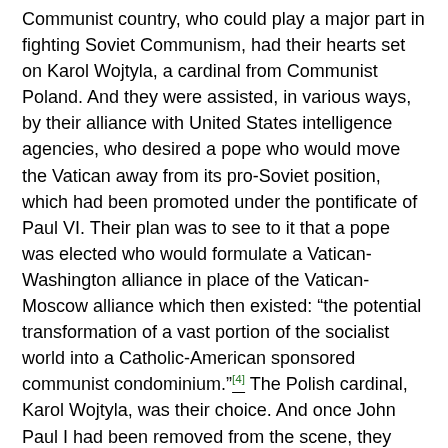Communist country, who could play a major part in fighting Soviet Communism, had their hearts set on Karol Wojtyla, a cardinal from Communist Poland. And they were assisted, in various ways, by their alliance with United States intelligence agencies, who desired a pope who would move the Vatican away from its pro-Soviet position, which had been promoted under the pontificate of Paul VI. Their plan was to see to it that a pope was elected who would formulate a Vatican-Washington alliance in place of the Vatican-Moscow alliance which then existed: “the potential transformation of a vast portion of the socialist world into a Catholic-American sponsored communist condominium.”[4] The Polish cardinal, Karol Wojtyla, was their choice. And once John Paul I had been removed from the scene, they could see to it that “their” man was elected. The Vatican-Washington proponents within the college of cardinals had to rig the election in order to get “their” man elected. This they succeeded in doing, with the assistance of the CIA, and Karol Wojtyla became Pope John Paul II.